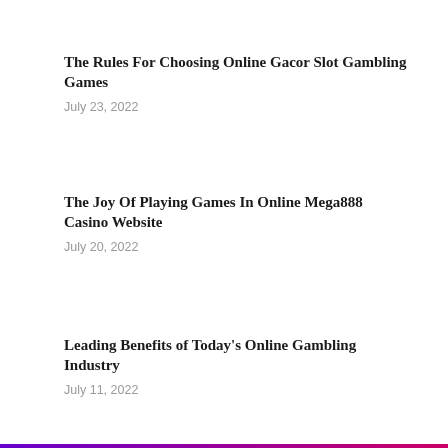The Rules For Choosing Online Gacor Slot Gambling Games
July 23, 2022
The Joy Of Playing Games In Online Mega888 Casino Website
July 20, 2022
Leading Benefits of Today's Online Gambling Industry
July 11, 2022